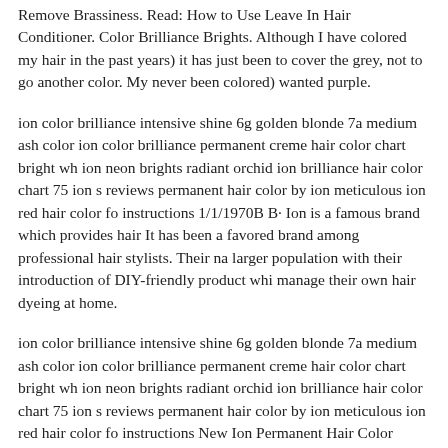Remove Brassiness. Read: How to Use Leave In Hair Conditioner. Color Brilliance Brights. Although I have colored my hair in the past years) it has just been to cover the grey, not to go another color. My never been colored) wanted purple.
ion color brilliance intensive shine 6g golden blonde 7a medium ash color ion color brilliance permanent creme hair color chart bright wh ion neon brights radiant orchid ion brilliance hair color chart 75 ion s reviews permanent hair color by ion meticulous ion red hair color fo instructions 1/1/1970B B· Ion is a famous brand which provides hair It has been a favored brand among professional hair stylists. Their na larger population with their introduction of DIY-friendly product whi manage their own hair dyeing at home.
ion color brilliance intensive shine 6g golden blonde 7a medium ash color ion color brilliance permanent creme hair color chart bright wh ion neon brights radiant orchid ion brilliance hair color chart 75 ion s reviews permanent hair color by ion meticulous ion red hair color fo instructions New Ion Permanent Hair Color Chart Pics Of Hair Colo Learning the box color basics can help you narrow down the right sh